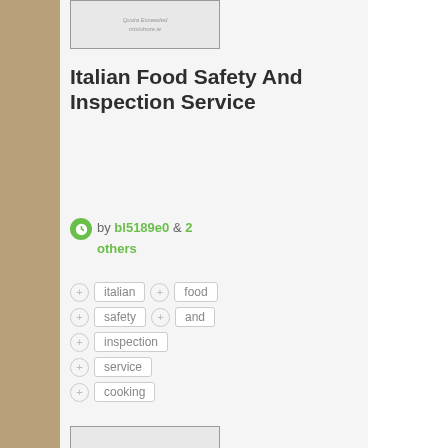[Figure (screenshot): Partial screenshot placeholder showing 'Quota Exceeded' and 'misluhore.ie' text on grey background]
Italian Food Safety And Inspection Service
by bl5189e0 & 2 others
italian
food
safety
and
inspection
service
cooking
[Figure (screenshot): Screenshot unavailable placeholder showing warning triangle icon and text 'Screenshot Unavailable' and 'misluhore.ie']
child safety video